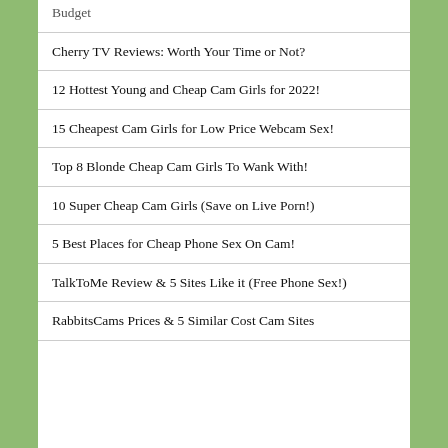Budget
Cherry TV Reviews: Worth Your Time or Not?
12 Hottest Young and Cheap Cam Girls for 2022!
15 Cheapest Cam Girls for Low Price Webcam Sex!
Top 8 Blonde Cheap Cam Girls To Wank With!
10 Super Cheap Cam Girls (Save on Live Porn!)
5 Best Places for Cheap Phone Sex On Cam!
TalkToMe Review & 5 Sites Like it (Free Phone Sex!)
RabbitsCams Prices & 5 Similar Cost Cam Sites